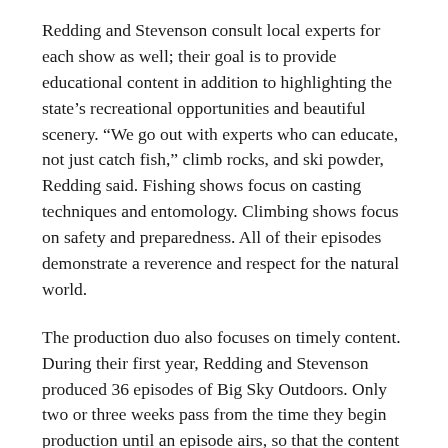Redding and Stevenson consult local experts for each show as well; their goal is to provide educational content in addition to highlighting the state's recreational opportunities and beautiful scenery. “We go out with experts who can educate, not just catch fish,” climb rocks, and ski powder, Redding said. Fishing shows focus on casting techniques and entomology. Climbing shows focus on safety and preparedness. All of their episodes demonstrate a reverence and respect for the natural world.
The production duo also focuses on timely content. During their first year, Redding and Stevenson produced 36 episodes of Big Sky Outdoors. Only two or three weeks pass from the time they begin production until an episode airs, so that the content is pertinent and viewers can join in the activities described in each show. Every episode includes a fishing report that is compiled only days before the show airs. They also include a calendar of outdoor events every week. When re-runs are shown, they re-produce the episode so that the calendar and fishing report are still current.